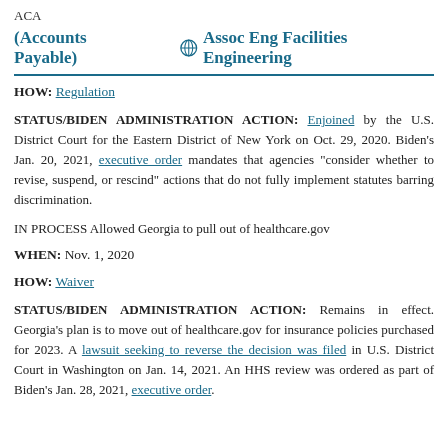ACA
(Accounts Payable)   Assoc Eng Facilities Engineering
HOW: Regulation
STATUS/BIDEN ADMINISTRATION ACTION: Enjoined by the U.S. District Court for the Eastern District of New York on Oct. 29, 2020. Biden’s Jan. 20, 2021, executive order mandates that agencies “consider whether to revise, suspend, or rescind” actions that do not fully implement statutes barring discrimination.
IN PROCESS Allowed Georgia to pull out of healthcare.gov
WHEN: Nov. 1, 2020
HOW: Waiver
STATUS/BIDEN ADMINISTRATION ACTION: Remains in effect. Georgia’s plan is to move out of healthcare.gov for insurance policies purchased for 2023. A lawsuit seeking to reverse the decision was filed in U.S. District Court in Washington on Jan. 14, 2021. An HHS review was ordered as part of Biden’s Jan. 28, 2021, executive order.